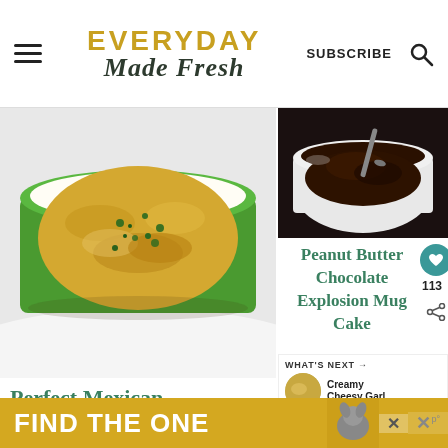EVERYDAY Made Fresh | SUBSCRIBE
[Figure (photo): Bowl of Mexican rice with green herbs on top, in a green and white bowl on a white cloth background]
[Figure (photo): Chocolate mug cake in a white ceramic bowl with a spoon]
Peanut Butter Chocolate Explosion Mug Cake
Perfect Mexican Rice
WHAT'S NEXT → Creamy Cheesy Garl...
[Figure (photo): Advertisement banner: FIND THE ONE with dog image]